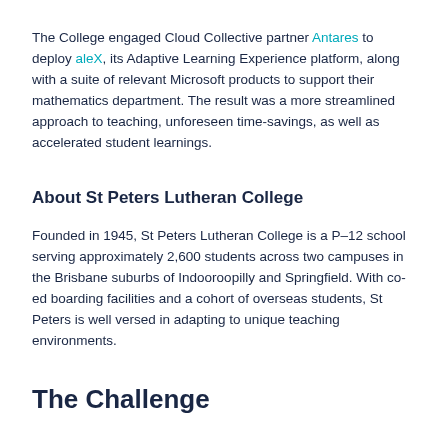The College engaged Cloud Collective partner Antares to deploy aleX, its Adaptive Learning Experience platform, along with a suite of relevant Microsoft products to support their mathematics department. The result was a more streamlined approach to teaching, unforeseen time-savings, as well as accelerated student learnings.
About St Peters Lutheran College
Founded in 1945, St Peters Lutheran College is a P–12 school serving approximately 2,600 students across two campuses in the Brisbane suburbs of Indooroopilly and Springfield. With co-ed boarding facilities and a cohort of overseas students, St Peters is well versed in adapting to unique teaching environments.
The Challenge
An innovative mindset held back by legacy systems